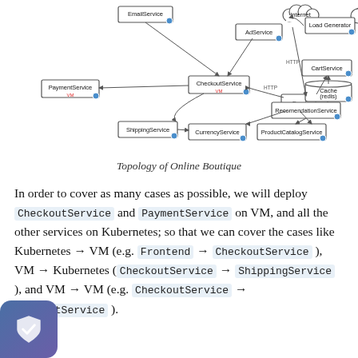[Figure (network-graph): Microservice topology diagram of Online Boutique showing services: EmailService, AdService, Internet (cloud), Load Generator, PaymentService (VM), CheckoutService (VM), Frontend, CartService, Cache (redis), ShippingService, CurrencyService, ProductCatalogService, RecommendationService. Arrows indicate HTTP and direct connections between services.]
Topology of Online Boutique
In order to cover as many cases as possible, we will deploy CheckoutService and PaymentService on VM, and all the other services on Kubernetes; so that we can cover the cases like Kubernetes → VM (e.g. Frontend → CheckoutService ), VM → Kubernetes ( CheckoutService → ShippingService ), and VM → VM (e.g. CheckoutService → PaymentService ).